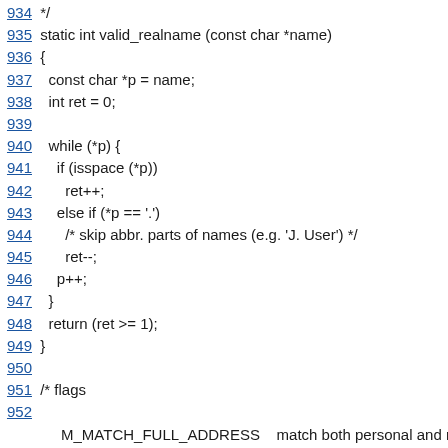934 */
935 static int valid_realname (const char *name)
936 {
937   const char *p = name;
938   int ret = 0;
939
940   while (*p) {
941     if (isspace (*p))
942       ret++;
943     else if (*p == '.')
944       /* skip abbr. parts of names (e.g. 'J. User') */
945       ret--;
946     p++;
947   }
948   return (ret >= 1);
949 }
950
951 /* flags
952
        M_MATCH_FULL_ADDRESS    match both personal and mac
953 int
954
mutt_pattern_exec (struct pattern_t *pat, pattern_exec_flag flags,
955                 CONTEXT * ctx, HEADER * h)
956 {